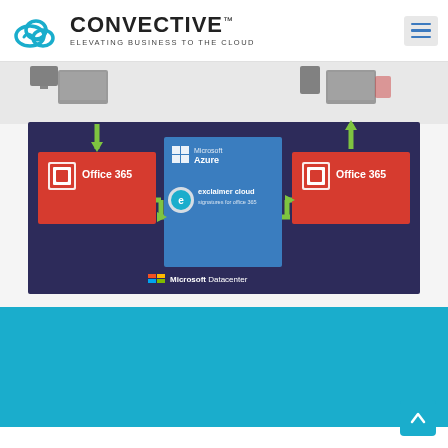CONVECTIVE™ — ELEVATING BUSINESS TO THE CLOUD
[Figure (infographic): Diagram showing email flow through Microsoft Azure and Exclaimer Cloud signatures for Office 365, with two Office 365 boxes on left and right connected via green arrows through a central Microsoft Azure / Exclaimer Cloud panel, hosted at Microsoft Datacenter. Devices shown at top.]